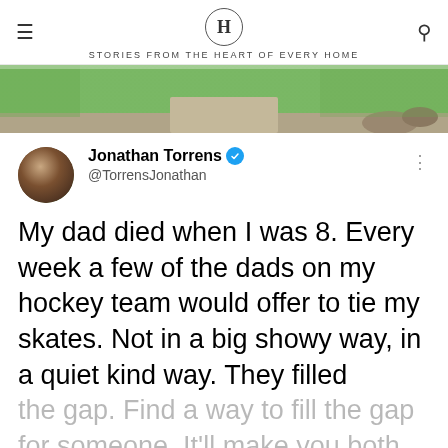H — STORIES FROM THE HEART OF EVERY HOME
[Figure (photo): Outdoor garden path photo strip showing green grass and stone walkway]
Jonathan Torrens @TorrensJonathan
My dad died when I was 8. Every week a few of the dads on my hockey team would offer to tie my skates. Not in a big showy way, in a quiet kind way. They filled the gap. Find a way to fill the gap for someone. It'll make you both